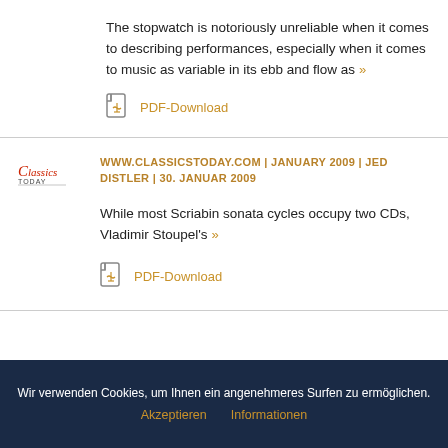The stopwatch is notoriously unreliable when it comes to describing performances, especially when it comes to music as variable in its ebb and flow as »
PDF-Download
WWW.CLASSICSTODAY.COM | JANUARY 2009 | JED DISTLER | 30. JANUAR 2009
While most Scriabin sonata cycles occupy two CDs, Vladimir Stoupel's »
PDF-Download
Wir verwenden Cookies, um Ihnen ein angenehmeres Surfen zu ermöglichen.
Akzeptieren Informationen